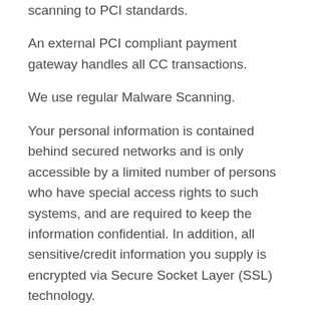scanning to PCI standards.
An external PCI compliant payment gateway handles all CC transactions.
We use regular Malware Scanning.
Your personal information is contained behind secured networks and is only accessible by a limited number of persons who have special access rights to such systems, and are required to keep the information confidential. In addition, all sensitive/credit information you supply is encrypted via Secure Socket Layer (SSL) technology.
We implement a variety of security measures